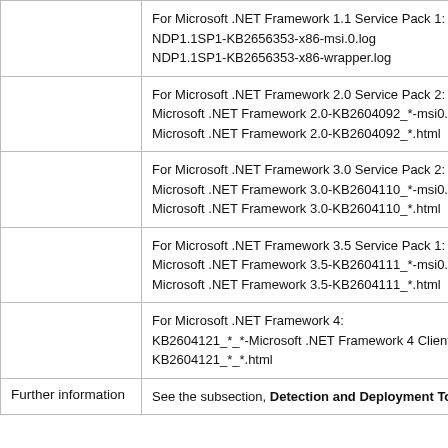|  | For Microsoft .NET Framework 1.1 Service Pack 1:
NDP1.1SP1-KB2656353-x86-msi.0.log
NDP1.1SP1-KB2656353-x86-wrapper.log |
|  | For Microsoft .NET Framework 2.0 Service Pack 2:
Microsoft .NET Framework 2.0-KB2604092_*-msi0.
Microsoft .NET Framework 2.0-KB2604092_*.html |
|  | For Microsoft .NET Framework 3.0 Service Pack 2:
Microsoft .NET Framework 3.0-KB2604110_*-msi0.
Microsoft .NET Framework 3.0-KB2604110_*.html |
|  | For Microsoft .NET Framework 3.5 Service Pack 1:
Microsoft .NET Framework 3.5-KB2604111_*-msi0.
Microsoft .NET Framework 3.5-KB2604111_*.html |
|  | For Microsoft .NET Framework 4:
KB2604121_*_*-Microsoft .NET Framework 4 Client
KB2604121_*_*.html |
| Further information | See the subsection, Detection and Deployment Too |